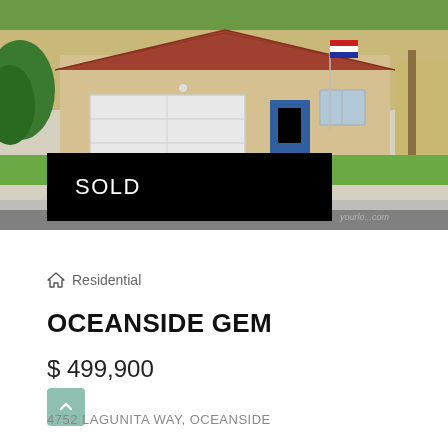[Figure (photo): Exterior photo of a single-story residential home with white garage door, tan/beige stucco facade, green lawn, concrete driveway, and American flag. Street view from across the road.]
SOLD
Residential
OCEANSIDE GEM
$ 499,900
4752 LAGUNITA WAY, OCEANSIDE